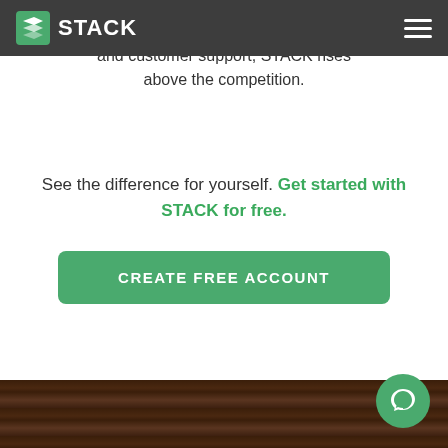STACK
& search features to superior training and customer support, STACK rises above the competition.
See the difference for yourself. Get started with STACK for free.
[Figure (other): Green rounded rectangle button with white uppercase text 'CREATE FREE ACCOUNT']
[Figure (other): Dark wood texture strip at bottom of page]
[Figure (other): Green circular chat support button with white speech bubble icon in bottom right corner]